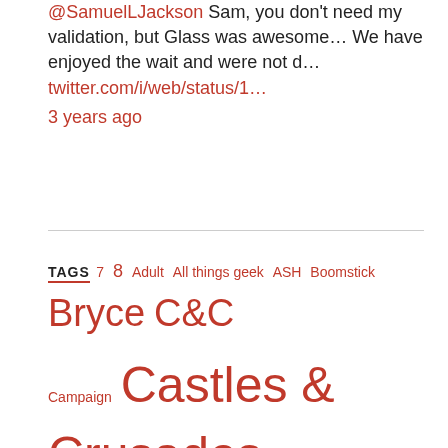@SamuelLJackson Sam, you don't need my validation, but Glass was awesome… We have enjoyed the wait and were not d… twitter.com/i/web/status/1… 3 years ago
TAGS
7 8 Adult All things geek ASH Boomstick Bryce C&C Campaign Castles & Crusades CGI Cheerleader combat Connery Cool d&d DAZ Dungeons & Dragons ebonshard Elric ewes Fantasy Fox Funny Gaming Gaming with Kids Gandalf gibson Gleichman GNS hamlet Head Hobbit Hot Cheerleader Indie Movie Jennifer's Body John Wayne Kids Kids Art Kirk Landscape LARP LotR Megan Fox Megan Fox Panties middle-earth mini-review